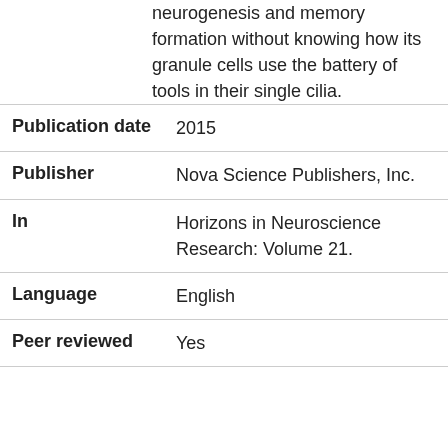neurogenesis and memory formation without knowing how its granule cells use the battery of tools in their single cilia.
| Publication date | 2015 |
| Publisher | Nova Science Publishers, Inc. |
| In | Horizons in Neuroscience Research: Volume 21. |
| Language | English |
| Peer reviewed | Yes |